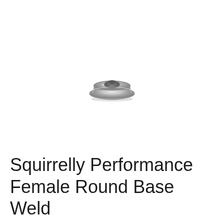[Figure (photo): A small silver/chrome female round base weld nut, viewed from a slight angle. The nut has a flanged circular base with a threaded hole in the center, made of polished stainless steel.]
Squirrelly Performance Female Round Base Weld